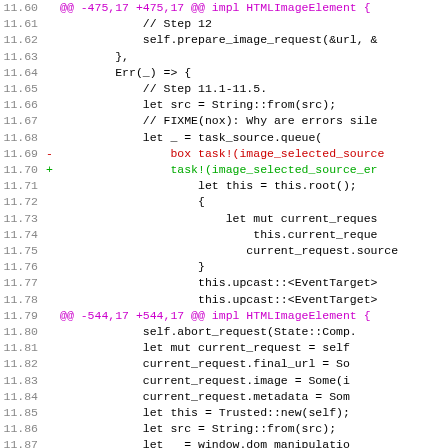[Figure (screenshot): Diff/patch view of Rust source code for HTMLImageElement, showing lines 11.60–11.91+ with red deletion lines and green addition lines in a monospace code diff format.]